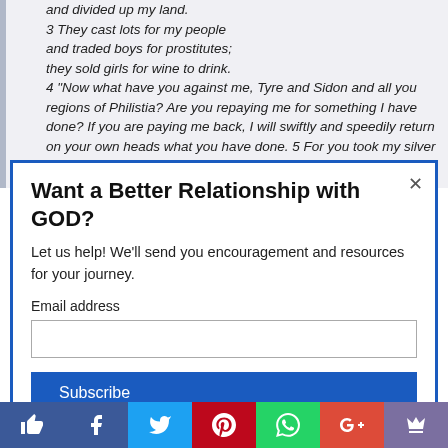and divided up my land. 3 They cast lots for my people and traded boys for prostitutes; they sold girls for wine to drink. 4 "Now what have you against me, Tyre and Sidon and all you regions of Philistia? Are you repaying me for something I have done? If you are paying me back, I will swiftly and speedily return on your own heads what you have done. 5 For you took my silver and my gold and
Want a Better Relationship with GOD?
Let us help! We'll send you encouragement and resources for your journey.
Email address
Subscribe